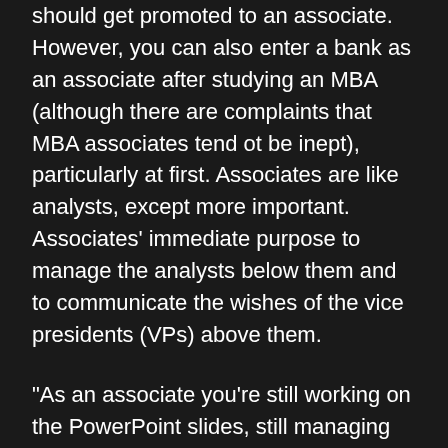should get promoted to an associate. However, you can also enter a bank as an associate after studying an MBA (although there are complaints that MBA associates tend ot be inept), particularly at first. Associates are like analysts, except more important. Associates' immediate purpose to manage the analysts below them and to communicate the wishes of the vice presidents (VPs) above them.
"As an associate you're still working on the PowerPoint slides, still managing the presentation," says the M&A analyst, "- But you also work more on the [financial] models."
The associate's role is partly to, "guide the analyst in preparing the presentation and doing the research," he says. The analyst does the work and the associate checks it. "The associate still prints out parts of the presentation if...